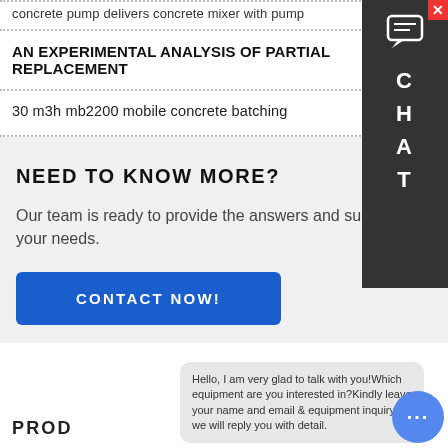concrete pump delivers concrete mixer with pump
AN EXPERIMENTAL ANALYSIS OF PARTIAL REPLACEMENT
30 m3h mb2200 mobile concrete batching
NEED TO KNOW MORE?
Our team is ready to provide the answers and support your needs.
CONTACT NOW!
PROD
Hello, I am very glad to talk with you!Which equipment are you interested in?Kindly leave your name and email & equipment inquiry, we will reply you with detail.